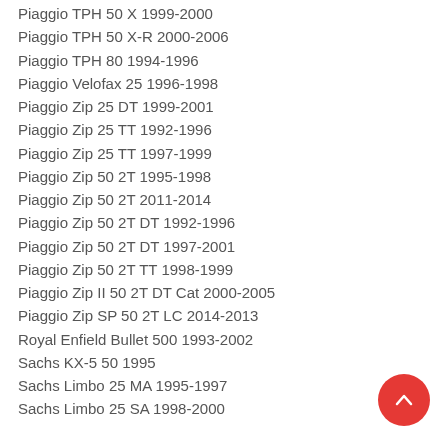Piaggio TPH 50 X 1999-2000
Piaggio TPH 50 X-R 2000-2006
Piaggio TPH 80 1994-1996
Piaggio Velofax 25 1996-1998
Piaggio Zip 25 DT 1999-2001
Piaggio Zip 25 TT 1992-1996
Piaggio Zip 25 TT 1997-1999
Piaggio Zip 50 2T 1995-1998
Piaggio Zip 50 2T 2011-2014
Piaggio Zip 50 2T DT 1992-1996
Piaggio Zip 50 2T DT 1997-2001
Piaggio Zip 50 2T TT 1998-1999
Piaggio Zip II 50 2T DT Cat 2000-2005
Piaggio Zip SP 50 2T LC 2014-2013
Royal Enfield Bullet 500 1993-2002
Sachs KX-5 50 1995
Sachs Limbo 25 MA 1995-1997
Sachs Limbo 25 SA 1998-2000